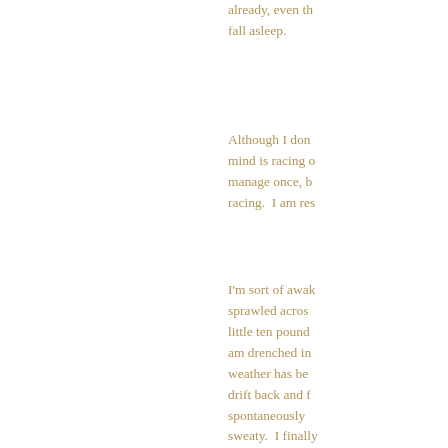already, even though I can't fall asleep.
Although I don't mind is racing once, b racing.  I am res
I'm sort of awak sprawled acros little ten pound am drenched in weather has be drift back and f spontaneously sweaty.  I finally the covers . . . .a my blood sugar